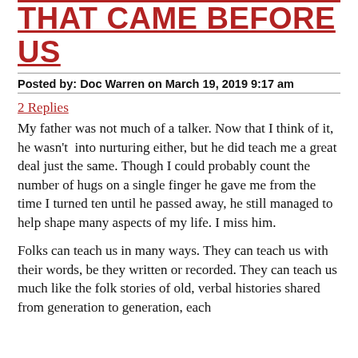THAT CAME BEFORE US
Posted by: Doc Warren on March 19, 2019 9:17 am
2 Replies
My father was not much of a talker. Now that I think of it, he wasn't  into nurturing either, but he did teach me a great deal just the same. Though I could probably count the number of hugs on a single finger he gave me from the time I turned ten until he passed away, he still managed to help shape many aspects of my life. I miss him.
Folks can teach us in many ways. They can teach us with their words, be they written or recorded. They can teach us much like the folk stories of old, verbal histories shared from generation to generation, each